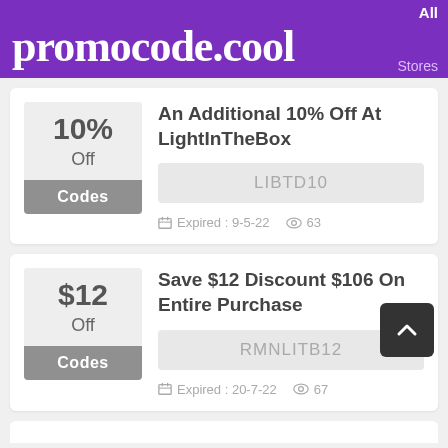promocode.cool
An Additional 10% Off At LightInTheBox
LIBTD10
Expired : 9-5-22   63
Save $12 Discount $106 On Entire Purchase
RMNLITB12
Expired : 20-7-22   67